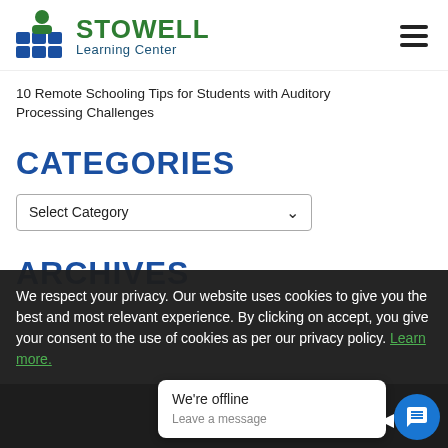[Figure (logo): Stowell Learning Center logo with green circle icon on blue block icon grid and text STOWELL Learning Center in green and blue]
10 Remote Schooling Tips for Students with Auditory Processing Challenges
CATEGORIES
Select Category
ARCHIVES
We respect your privacy. Our website uses cookies to give you the best and most relevant experience. By clicking on accept, you give your consent to the use of cookies as per our privacy policy. Learn more.
We're offline
Leave a message